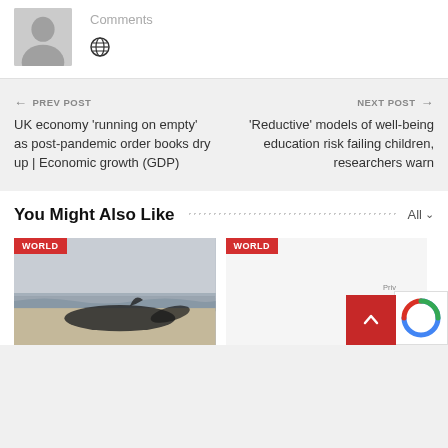[Figure (illustration): Gray avatar/profile placeholder icon]
Comments
[Figure (illustration): Globe icon]
← PREV POST
UK economy 'running on empty' as post-pandemic order books dry up | Economic growth (GDP)
NEXT POST →
'Reductive' models of well-being education risk failing children, researchers warn
You Might Also Like
All ∨
[Figure (photo): Dead whale washed up on a beach with ocean in background. Red WORLD tag in top-left corner.]
WORLD
WORLD